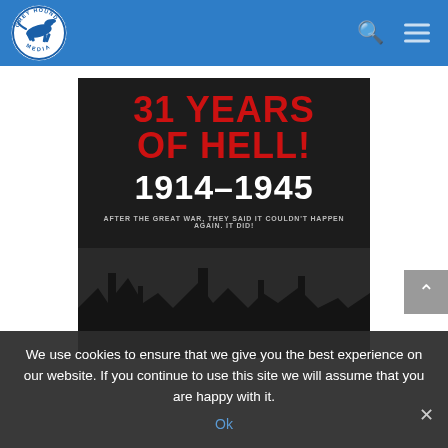[Figure (logo): Grey Hound Media logo — circular badge with running dog silhouette]
[Figure (illustration): Book cover for '31 Years of Hell! 1914-1945' — dark background with red bold text '31 YEARS OF HELL!' and white text '1914-1945', subtitle 'AFTER THE GREAT WAR, THEY SAID IT COULDN'T HAPPEN AGAIN. IT DID!' with war ruins imagery at the bottom]
We use cookies to ensure that we give you the best experience on our website. If you continue to use this site we will assume that you are happy with it.
Ok